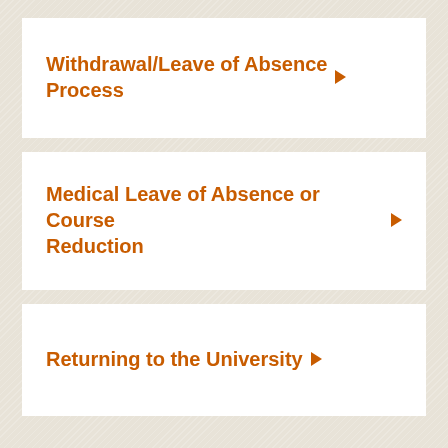Withdrawal/Leave of Absence Process ▶
Medical Leave of Absence or Course Reduction ▶
Returning to the University ▶